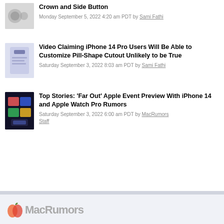Crown and Side Button | Monday September 5, 2022 4:20 am PDT by Sami Fathi
Video Claiming iPhone 14 Pro Users Will Be Able to Customize Pill-Shape Cutout Unlikely to be True | Saturday September 3, 2022 8:03 am PDT by Sami Fathi
Top Stories: 'Far Out' Apple Event Preview With iPhone 14 and Apple Watch Pro Rumors | Saturday September 3, 2022 6:00 am PDT by MacRumors Staff
[Figure (logo): MacRumors logo at bottom of page]